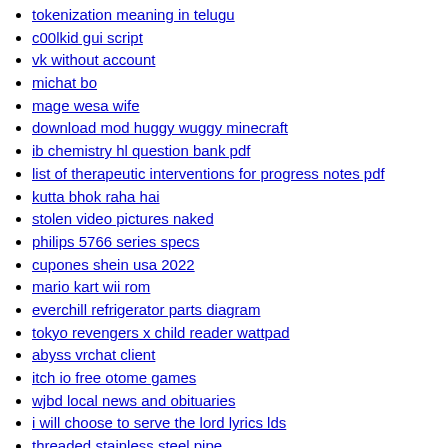tokenization meaning in telugu
c00lkid gui script
vk without account
michat bo
mage wesa wife
download mod huggy wuggy minecraft
ib chemistry hl question bank pdf
list of therapeutic interventions for progress notes pdf
kutta bhok raha hai
stolen video pictures naked
philips 5766 series specs
cupones shein usa 2022
mario kart wii rom
everchill refrigerator parts diagram
tokyo revengers x child reader wattpad
abyss vrchat client
itch io free otome games
wjbd local news and obituaries
i will choose to serve the lord lyrics lds
threaded stainless steel pipe
kaiju paradise bestiary pictures
worcester telegram obituaries today
site pastebin com visa 2022
rule 34 cynthia
subway surfers new york 2022